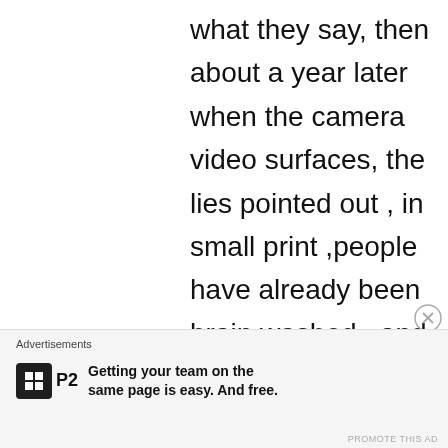what they say, then about a year later when the camera video surfaces, the lies pointed out , in small print ,people have already been brain washed , and actually repeat the nonsense reported. Take for instance Scott Peterson. When you read what the cops lied about,
Advertisements
Getting your team on the same page is easy. And free.